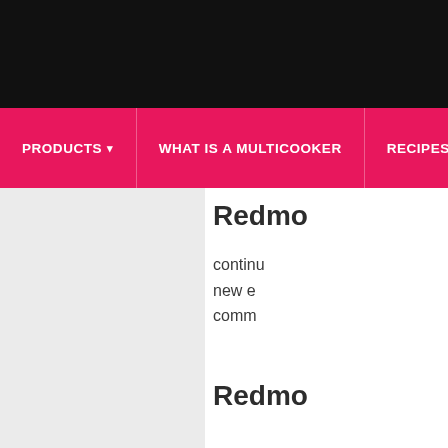[Figure (screenshot): Black header bar at the top of the page]
PRODUCTS ▾   WHAT IS A MULTICOOKER   RECIPES
Redmo
continu
new e
comm
Redmo
Read